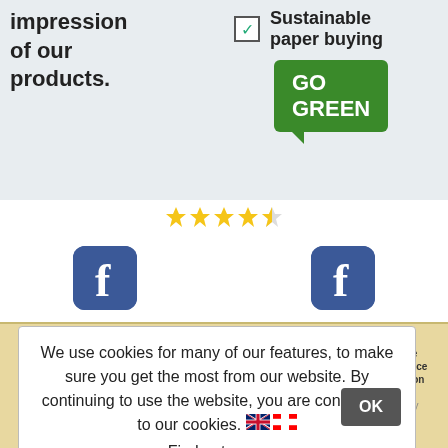[Figure (screenshot): Top section with two panels: left panel shows bold text 'impression of our products.' with pencils image; right panel shows checkbox with 'Sustainable paper buying' and green Go Green badge]
[Figure (other): Four and a half gold star rating]
[Figure (other): Two Facebook icon buttons side by side]
Service | Order Process | Print Files | General
Hotline & Chat | Help Center | General | Legal Notice
Print File | How to Order | Checklist | Terms of Service
Services | File Upload | Bleed & Safe | Data Protection
Custom Request | Production Time | Area | Information
Free Sample Kit | Shipping | File Templates | Privacy Policy
Guarantee | | | About Us
| | | Contact Us
We use cookies for many of our features, to make sure you get the most from our website. By continuing to use the website, you are consenting to our cookies.
Find out more
© 2001-2021 1-2-print